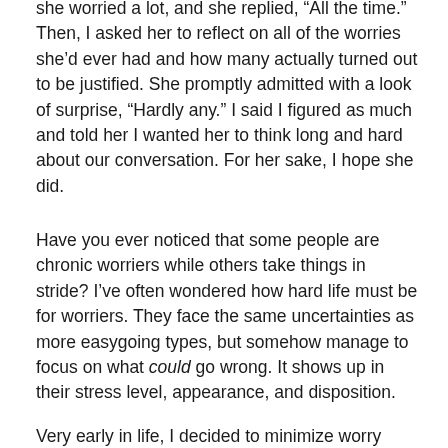she worried a lot, and she replied, “All the time.” Then, I asked her to reflect on all of the worries she’d ever had and how many actually turned out to be justified. She promptly admitted with a look of surprise, “Hardly any.” I said I figured as much and told her I wanted her to think long and hard about our conversation. For her sake, I hope she did.
Have you ever noticed that some people are chronic worriers while others take things in stride? I’ve often wondered how hard life must be for worriers. They face the same uncertainties as more easygoing types, but somehow manage to focus on what could go wrong. It shows up in their stress level, appearance, and disposition.
Very early in life, I decided to minimize worry because it